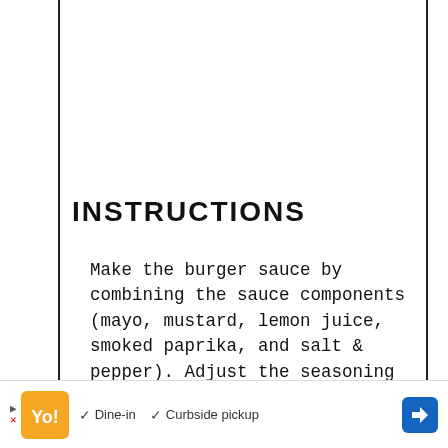INSTRUCTIONS
Make the burger sauce by combining the sauce components (mayo, mustard, lemon juice, smoked paprika, and salt & pepper). Adjust the seasoning to taste.
Pre-heat your grill to medium-high heat with oil.
▶ [ad logo] ✓ Dine-in ✓ Curbside pickup [navigation arrow]